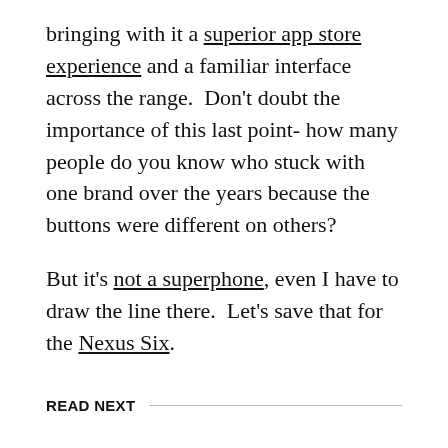bringing with it a superior app store experience and a familiar interface across the range.  Don't doubt the importance of this last point- how many people do you know who stuck with one brand over the years because the buttons were different on others?
But it's not a superphone, even I have to draw the line there.  Let's save that for the Nexus Six.
READ NEXT
Looking Beneath the Surface
JUN 19, 2012